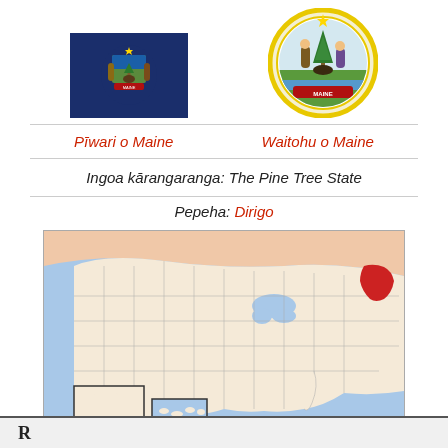[Figure (photo): Flag of Maine - blue background with state seal in center]
[Figure (photo): Seal of Maine - circular seal with two figures flanking a pine tree and moose, with yellow border]
Pīwari o Maine
Waitohu o Maine
Ingoa kārangaranga: The Pine Tree State
Pepeha: Dirigo
[Figure (map): Map of the United States with Maine highlighted in red in the northeast corner. Surrounding US states shown in light beige/cream. Alaska and Hawaii shown as insets in lower left. Canada shown in light pink at top.]
R...